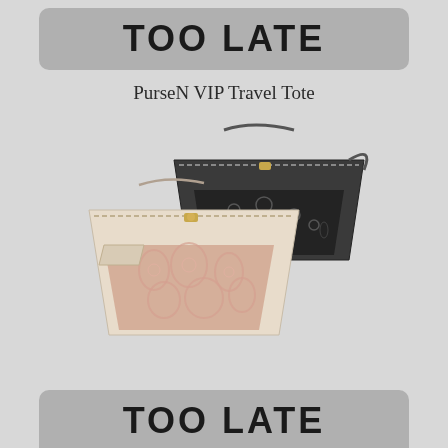TOO LATE
PurseN VIP Travel Tote
[Figure (photo): Two PurseN VIP Travel Tote bags — one beige/nude with rose gold lace-pattern panel in the foreground, and one black with black lace-pattern panel behind it. Both bags have zippered tops, structured trapezoidal shapes, and decorative metal hardware.]
TOO LATE